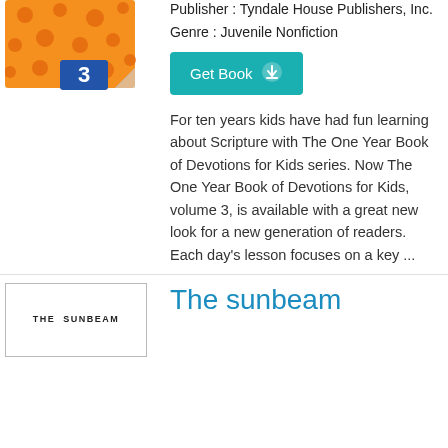[Figure (illustration): Orange book cover with polka dot pattern and a blue tag showing number 3]
Publisher : Tyndale House Publishers, Inc.
Genre : Juvenile Nonfiction
Get Book
For ten years kids have had fun learning about Scripture with The One Year Book of Devotions for Kids series. Now The One Year Book of Devotions for Kids, volume 3, is available with a great new look for a new generation of readers. Each day's lesson focuses on a key ...
[Figure (illustration): Book cover showing THE SUNBEAM text]
The sunbeam